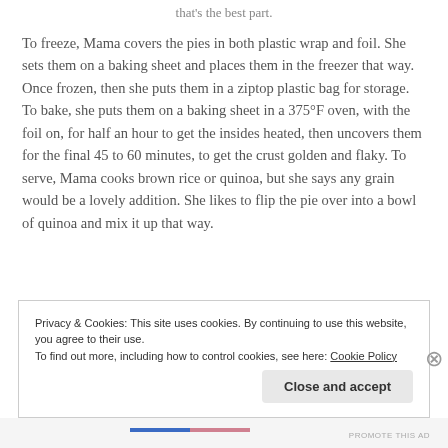that’s the best part.
To freeze, Mama covers the pies in both plastic wrap and foil. She sets them on a baking sheet and places them in the freezer that way. Once frozen, then she puts them in a ziptop plastic bag for storage. To bake, she puts them on a baking sheet in a 375°F oven, with the foil on, for half an hour to get the insides heated, then uncovers them for the final 45 to 60 minutes, to get the crust golden and flaky. To serve, Mama cooks brown rice or quinoa, but she says any grain would be a lovely addition. She likes to flip the pie over into a bowl of quinoa and mix it up that way.
Privacy & Cookies: This site uses cookies. By continuing to use this website, you agree to their use.
To find out more, including how to control cookies, see here: Cookie Policy
Close and accept